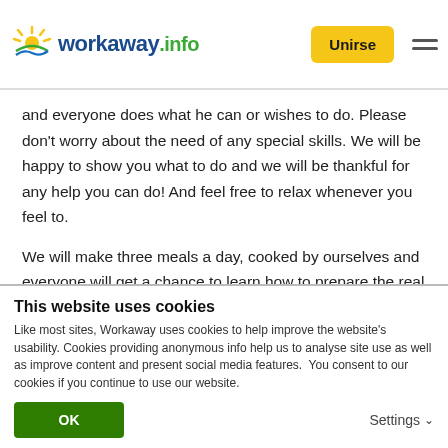workaway.info — Unirse
and everyone does what he can or wishes to do. Please don't worry about the need of any special skills. We will be happy to show you what to do and we will be thankful for any help you can do! And feel free to relax whenever you feel to.
We will make three meals a day, cooked by ourselves and everyone will get a chance to learn how to prepare the real Moroccan dish.
This website uses cookies
Like most sites, Workaway uses cookies to help improve the website's usability. Cookies providing anonymous info help us to analyse site use as well as improve content and present social media features.  You consent to our cookies if you continue to use our website.